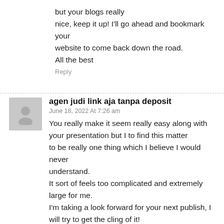but your blogs really
nice, keep it up! I'll go ahead and bookmark your website to come back down the road.
All the best
Reply
agen judi link aja tanpa deposit
June 18, 2022 At 7:26 am
You really make it seem really easy along with your presentation but I to find this matter to be really one thing which I believe I would never understand.
It sort of feels too complicated and extremely large for me.
I'm taking a look forward for your next publish, I will try to get the cling of it!
Reply